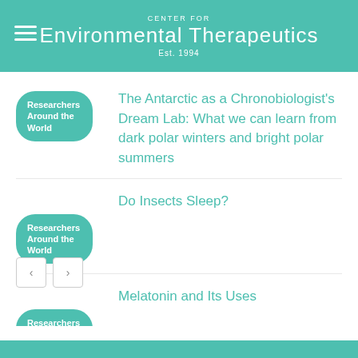CENTER FOR Environmental Therapeutics Est. 1994
The Antarctic as a Chronobiologist's Dream Lab: What we can learn from dark polar winters and bright polar summers
Researchers Around the World
Do Insects Sleep?
Researchers Around the World
Melatonin and Its Uses
Researchers Around the World